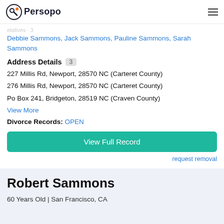Persopo
Debbie Sammons, Jack Sammons, Pauline Sammons, Sarah Sammons
Address Details 3
227 Millis Rd, Newport, 28570 NC (Carteret County)
276 Millis Rd, Newport, 28570 NC (Carteret County)
Po Box 241, Bridgeton, 28519 NC (Craven County)
View More
Divorce Records: OPEN
View Full Record
request removal
Robert Sammons
60 Years Old | San Francisco, CA